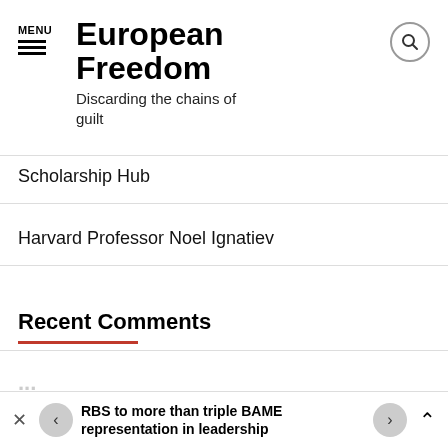MENU
European Freedom
Discarding the chains of guilt
Scholarship Hub
Harvard Professor Noel Ignatiev
Recent Comments
RBS to more than triple BAME representation in leadership